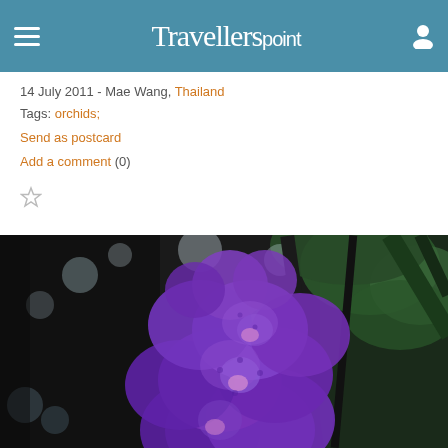Travellerspoint
14 July 2011 - Mae Wang, Thailand
Tags: orchids;
Send as postcard
Add a comment (0)
[Figure (photo): Purple Vanda orchid flowers photographed from below against a green tree canopy background, Mae Wang, Thailand]